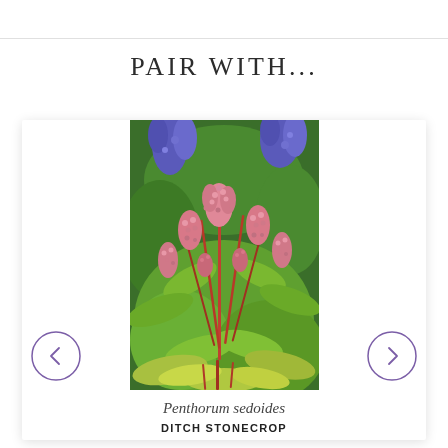PAIR WITH...
[Figure (photo): A photograph of Penthorum sedoides (Ditch Stonecrop) plant with pink-red flower sprays and yellow-green leaves, with blue flowers visible in the background.]
Penthorum sedoides
DITCH STONECROP